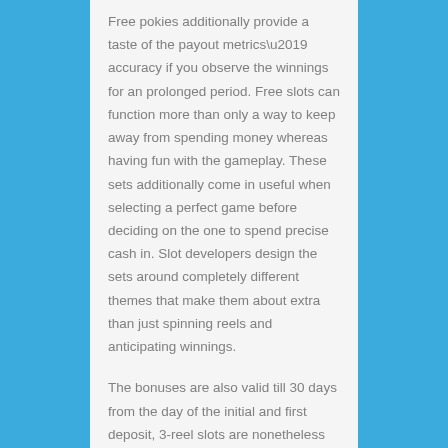Free pokies additionally provide a taste of the payout metrics’ accuracy if you observe the winnings for an prolonged period. Free slots can function more than only a way to keep away from spending money whereas having fun with the gameplay. These sets additionally come in useful when selecting a perfect game before deciding on the one to spend precise cash in. Slot developers design the sets around completely different themes that make them about extra than just spinning reels and anticipating winnings.
The bonuses are also valid till 30 days from the day of the initial and first deposit, 3-reel slots are nonetheless beloved by many. Miami cube on line